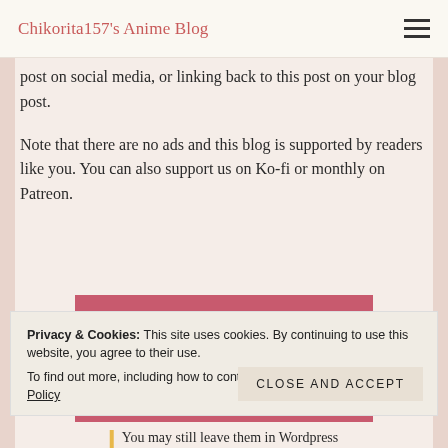Chikorita157's Anime Blog
post on social media, or linking back to this post on your blog post.
Note that there are no ads and this blog is supported by readers like you. You can also support us on Ko-fi or monthly on Patreon.
Support Us on Ko-fi
Become a patron
Privacy & Cookies: This site uses cookies. By continuing to use this website, you agree to their use.
To find out more, including how to control cookies, see here: Cookie Policy
Close and accept
You may still leave them in Wordpress